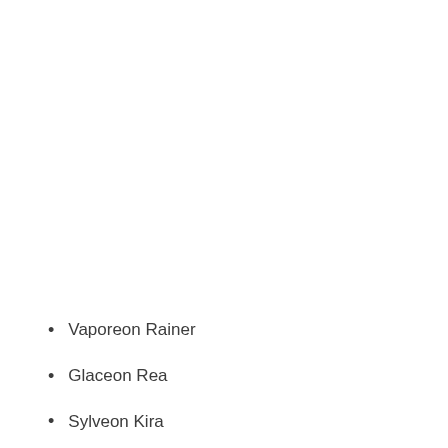Vaporeon Rainer
Glaceon Rea
Sylveon Kira